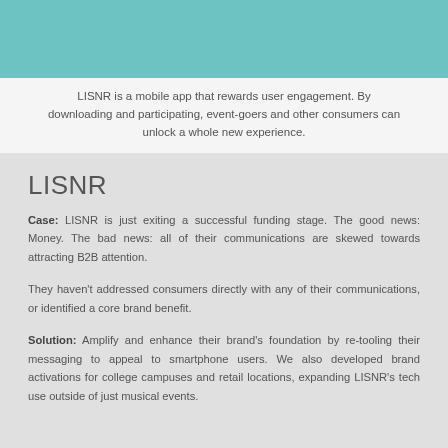[Figure (other): Teal/turquoise colored banner bar at the top of the page]
LISNR is a mobile app that rewards user engagement. By downloading and participating, event-goers and other consumers can unlock a whole new experience.
LISNR
Case: LISNR is just exiting a successful funding stage. The good news: Money. The bad news: all of their communications are skewed towards attracting B2B attention.
They haven't addressed consumers directly with any of their communications, or identified a core brand benefit.
Solution: Amplify and enhance their brand's foundation by re-tooling their messaging to appeal to smartphone users. We also developed brand activations for college campuses and retail locations, expanding LISNR's tech use outside of just musical events.